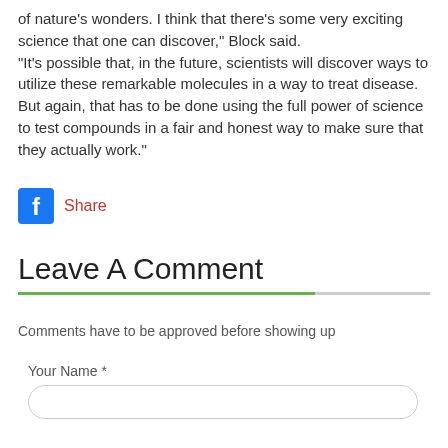of nature's wonders. I think that there's some very exciting science that one can discover," Block said.
"It's possible that, in the future, scientists will discover ways to utilize these remarkable molecules in a way to treat disease. But again, that has to be done using the full power of science to test compounds in a fair and honest way to make sure that they actually work."
[Figure (logo): Facebook share button with blue Facebook icon and red 'Share' text]
Leave A Comment
Comments have to be approved before showing up
Your Name *